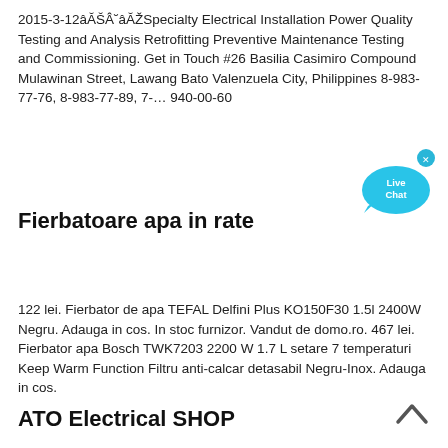2015-3-12ââˆââSpecialty Electrical Installation Power Quality Testing and Analysis Retrofitting Preventive Maintenance Testing and Commissioning. Get in Touch #26 Basilia Casimiro Compound Mulawinan Street, Lawang Bato Valenzuela City, Philippines 8-983-77-76, 8-983-77-89, 7-… 940-00-60
[Figure (illustration): Live Chat bubble icon in cyan/blue colors with 'Live Chat' text and a small X close button]
Fierbatoare apa in rate
122 lei. Fierbator de apa TEFAL Delfini Plus KO150F30 1.5l 2400W Negru. Adauga in cos. In stoc furnizor. Vandut de domo.ro. 467 lei. Fierbator apa Bosch TWK7203 2200 W 1.7 L setare 7 temperaturi Keep Warm Function Filtru anti-calcar detasabil Negru-Inox. Adauga in cos.
ATO Electrical SHOP
[Figure (illustration): Back to top arrow chevron icon pointing upward]